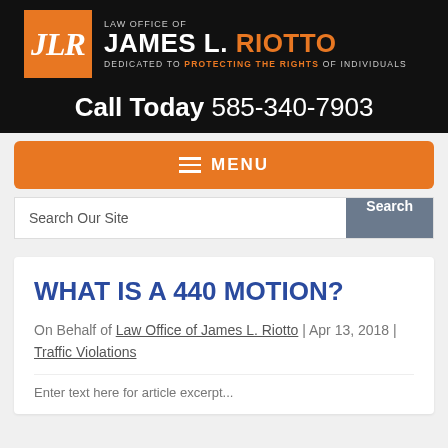[Figure (logo): Law Office of James L. Riotto logo with orange JLR initials box and firm name. Tagline: Dedicated to Protecting the Rights of Individuals.]
Call Today 585-340-7903
≡ MENU
Search Our Site
WHAT IS A 440 MOTION?
On Behalf of Law Office of James L. Riotto | Apr 13, 2018 | Traffic Violations